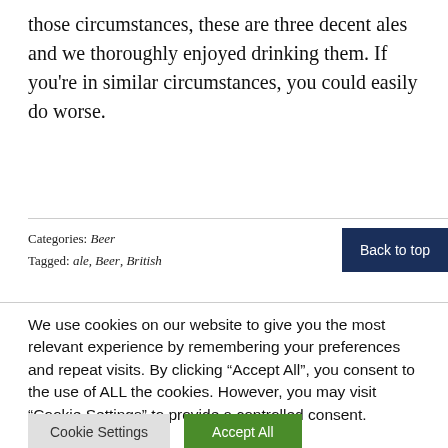those circumstances, these are three decent ales and we thoroughly enjoyed drinking them. If you're in similar circumstances, you could easily do worse.
Categories: Beer
Tagged: ale, Beer, British
Back to top
We use cookies on our website to give you the most relevant experience by remembering your preferences and repeat visits. By clicking “Accept All”, you consent to the use of ALL the cookies. However, you may visit “Cookie Settings” to provide a controlled consent.
Cookie Settings
Accept All